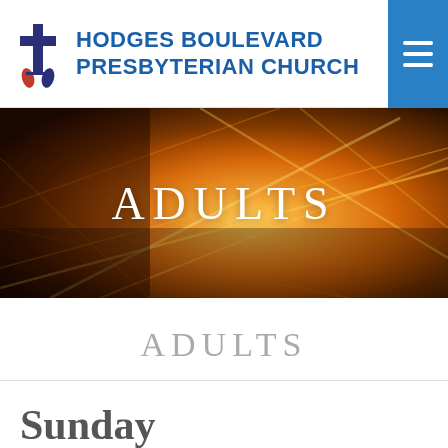HODGES BOULEVARD PRESBYTERIAN CHURCH
[Figure (illustration): Abstract fiery orange and gold light streaks banner image with the word ADULTS overlaid in white serif text]
ADULTS
Sunday